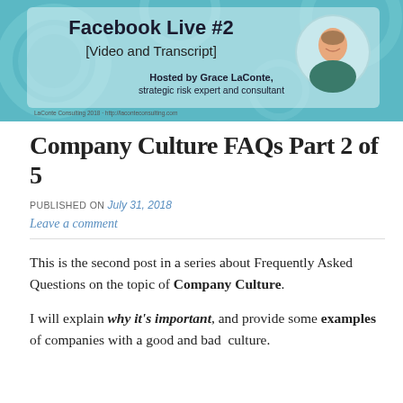[Figure (illustration): Banner image for a blog post titled 'Facebook Live #2 [Video and Transcript]', teal/light blue background with decorative circular patterns, text in dark and white fonts, and a circular photo of a smiling woman. Text reads: 'Facebook Live #2 [Video and Transcript]', 'Hosted by Grace LaConte, strategic risk expert and consultant'. Small footer text: 'LaConte Consulting 2018 · http://laconteconsulting.com']
Company Culture FAQs Part 2 of 5
PUBLISHED ON July 31, 2018
Leave a comment
This is the second post in a series about Frequently Asked Questions on the topic of Company Culture.
I will explain why it's important, and provide some examples of companies with a good and bad culture.